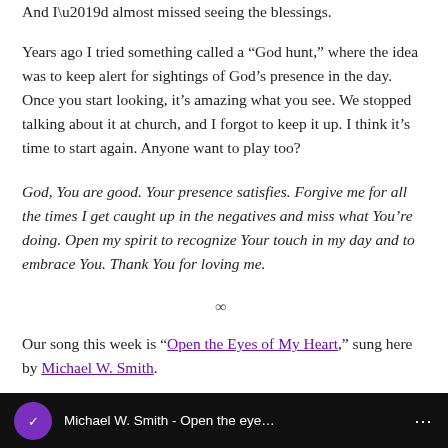And I'd almost missed seeing the blessings.
Years ago I tried something called a “God hunt,” where the idea was to keep alert for sightings of God’s presence in the day. Once you start looking, it’s amazing what you see. We stopped talking about it at church, and I forgot to keep it up. I think it’s time to start again. Anyone want to play too?
God, You are good. Your presence satisfies. Forgive me for all the times I get caught up in the negatives and miss what You’re doing. Open my spirit to recognize Your touch in my day and to embrace You. Thank You for loving me.
∞
Our song this week is “Open the Eyes of My Heart,” sung here by Michael W. Smith.
[Figure (screenshot): Video thumbnail bar showing Michael W. Smith - Open the eyes... with purple channel icon]